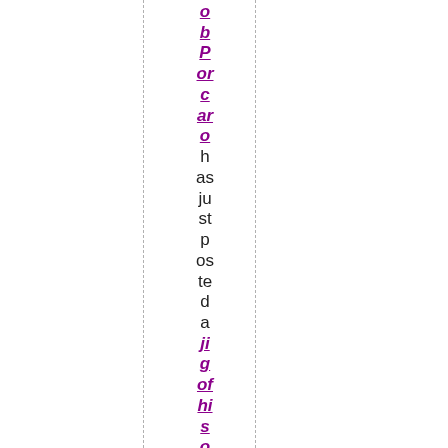o b P or c ar o h as ju st p os te d a ji g of hi s o w n d e si g n o